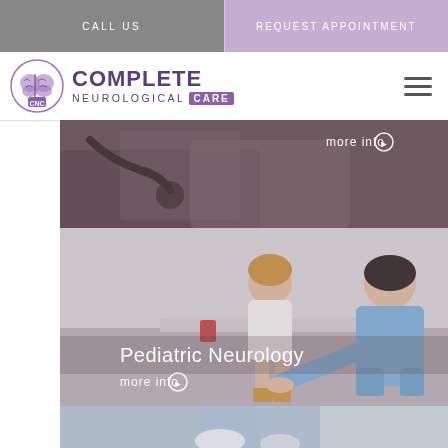CALL US
REQUEST APPOINTMENT
[Figure (logo): Complete Neurological Care logo with brain icon and CNC monogram]
[Figure (photo): Medical professional with stethoscope examining patient, with 'more info' overlay button]
[Figure (photo): Pediatric Neurology: nurse/doctor examining young girl's leg, with text overlay 'Pediatric Neurology' and 'more info' button]
[Figure (photo): Partial view of third medical image panel at bottom]